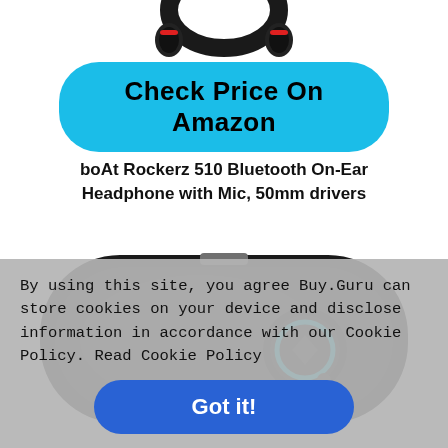[Figure (photo): Partial view of a black and red on-ear headphone from above]
[Figure (other): Blue rounded button labeled 'Check Price On Amazon']
boAt Rockerz 510 Bluetooth On-Ear Headphone with Mic, 50mm drivers
[Figure (photo): Black wireless earbud charging case with a single earbud visible, featuring a cyan ring LED indicator]
By using this site, you agree Buy.Guru can store cookies on your device and disclose information in accordance with our Cookie Policy. Read Cookie Policy
[Figure (other): Blue rounded button labeled 'Got it!']